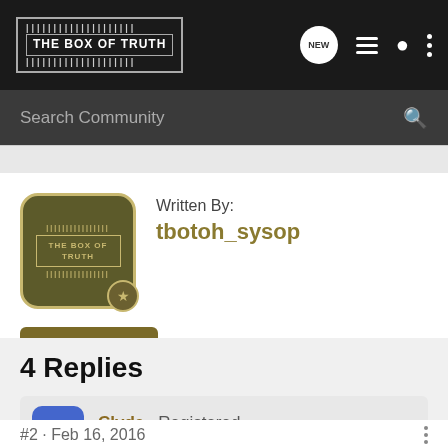THE BOX OF TRUTH
Search Community
Written By:
tbotoh_sysop
+ Follow
View All Authors
4 Replies
Clyde · Registered
Joined Feb 16, 2016 · 2 Posts
#2 · Feb 16, 2016